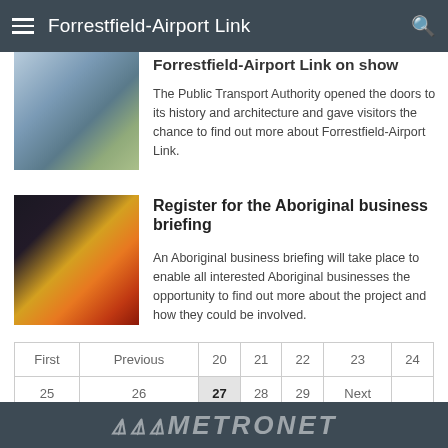Forrestfield-Airport Link
Forrestfield-Airport Link on show
The Public Transport Authority opened the doors to its history and architecture and gave visitors the chance to find out more about Forrestfield-Airport Link.
Register for the Aboriginal business briefing
An Aboriginal business briefing will take place to enable all interested Aboriginal businesses the opportunity to find out more about the project and how they could be involved.
| First | Previous | 20 | 21 | 22 | 23 | 24 |
| 25 | 26 | 27 | 28 | 29 | Next |  |